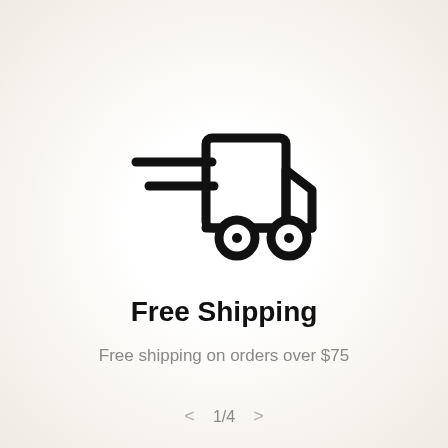[Figure (illustration): A fast delivery truck icon with speed lines on the left side, rendered in black outline style.]
Free Shipping
Free shipping on orders over $75
1/4